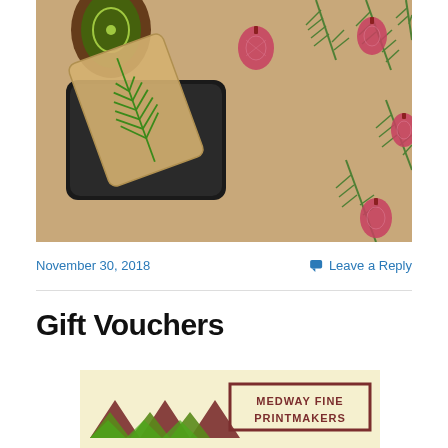[Figure (photo): Photo of rubber stamps with Christmas/holiday ornament designs on a kraft paper background printed with red ornament and green pine branch patterns. A black smartphone/ink pad is visible.]
November 30, 2018
Leave a Reply
Gift Vouchers
[Figure (logo): Medway Fine Printmakers logo with zigzag mountain shapes in dark red and green, and text 'MEDWAY FINE PRINTMAKERS' in a bordered box.]